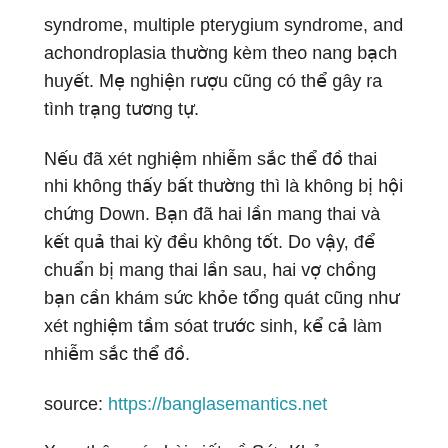syndrome, multiple pterygium syndrome, and achondroplasia thường kèm theo nang bạch huyết. Mẹ nghiện rượu cũng có thể gây ra tình trạng tương tự.
Nếu đã xét nghiệm nhiễm sắc thể đồ thai nhi không thấy bất thường thì là không bị hội chứng Down. Bạn đã hai lần mang thai và kết quả thai kỳ đều không tốt. Do vậy, để chuẩn bị mang thai lần sau, hai vợ chồng bạn cần khám sức khỏe tổng quát cũng như xét nghiệm tầm sóat trước sinh, kể cả làm nhiễm sắc thể đồ.
source: https://banglasemantics.net
Xem thêm các bài viết về Sức Khỏe:
https://banglasemantics.net/category/suc-khoe/
Posted in Sức Khỏe✅ Tagged hội chứng klinefelter, Leave a